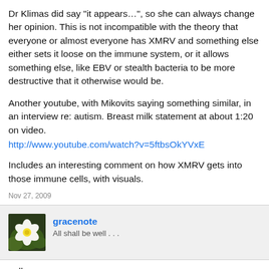Dr Klimas did say "it appears…", so she can always change her opinion. This is not incompatible with the theory that everyone or almost everyone has XMRV and something else either sets it loose on the immune system, or it allows something else, like EBV or stealth bacteria to be more destructive that it otherwise would be.
Another youtube, with Mikovits saying something similar, in an interview re: autism. Breast milk statement at about 1:20 on video.
http://www.youtube.com/watch?v=5ftbsOkYVxE
Includes an interesting comment on how XMRV gets into those immune cells, with visuals.
Nov 27, 2009
gracenote
All shall be well . . .
null